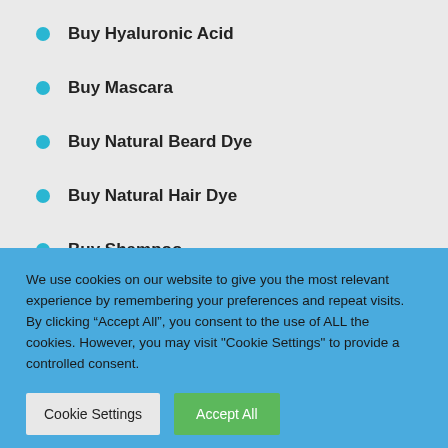Buy Hyaluronic Acid
Buy Mascara
Buy Natural Beard Dye
Buy Natural Hair Dye
Buy Shampoo
Face Wash and Lotions
Hair Repair
We use cookies on our website to give you the most relevant experience by remembering your preferences and repeat visits. By clicking “Accept All”, you consent to the use of ALL the cookies. However, you may visit "Cookie Settings" to provide a controlled consent.